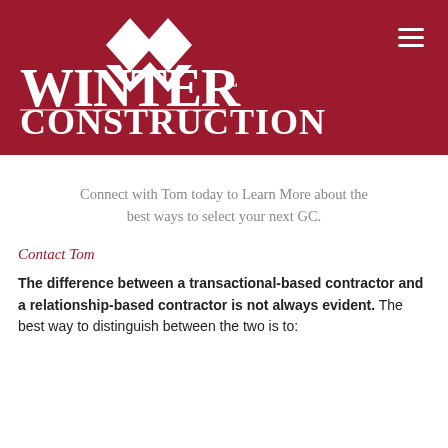[Figure (logo): Winter Construction logo — white text 'WINTER' and 'CONSTRUCTION' with diamond/W shape icon on dark red banner background]
Connect with Tom today to Learn More about the best ways to select your next GC.
Contact Tom
The difference between a transactional-based contractor and a relationship-based contractor is not always evident. The best way to distinguish between the two is to: